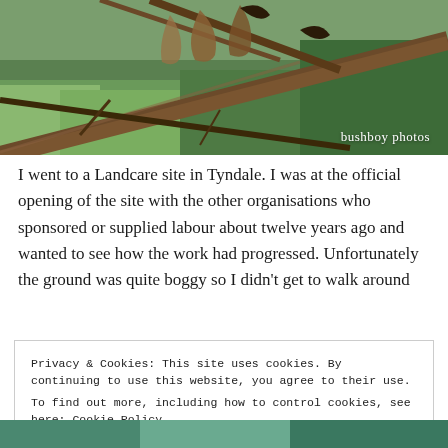[Figure (photo): Close-up nature photo of tree branches with bark peeling, green foliage in background. Watermark 'bushboy photos' in lower right corner.]
I went to a Landcare site in Tyndale. I was at the official opening of the site with the other organisations who sponsored or supplied labour about twelve years ago and wanted to see how the work had progressed. Unfortunately the ground was quite boggy so I didn't get to walk around
Privacy & Cookies: This site uses cookies. By continuing to use this website, you agree to their use.
To find out more, including how to control cookies, see here: Cookie Policy
Close and accept
[Figure (photo): Partial view of another nature photo at bottom of page, showing blue-green foliage.]